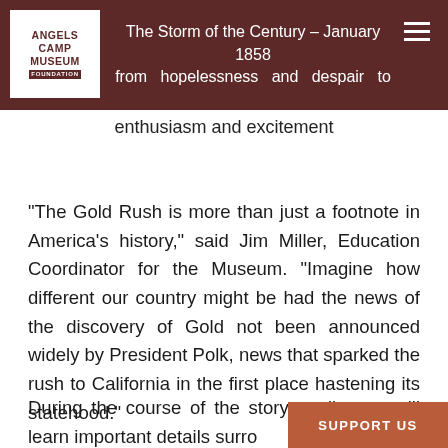The Storm of the Century – January 1858 … from hopelessness and despair to enthusiasm and excitement
“The Gold Rush is more than just a footnote in America’s history,” said Jim Miller, Education Coordinator for the Museum. “Imagine how different our country might be had the news of the discovery of Gold not been announced widely by President Polk, news that sparked the rush to California in the first place hastening its statehood.”
During the course of the story, audiences will learn important details surro…
SUPPORT US